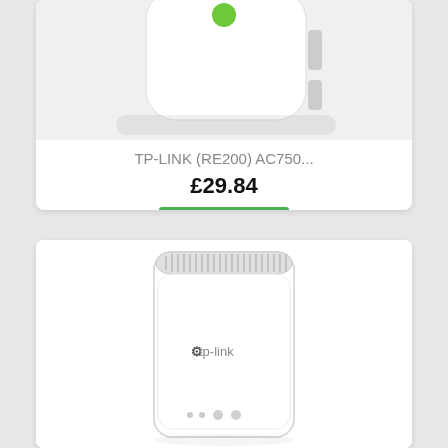[Figure (photo): Top portion of a white WiFi range extender plug-in device (TP-LINK RE200) partially visible at top of first product card]
TP-LINK (RE200) AC750...
£29.84
28 items
[Figure (photo): White TP-Link WiFi range extender device shown front-facing with TP-link logo, ventilation slots at top, and indicator lights at bottom]